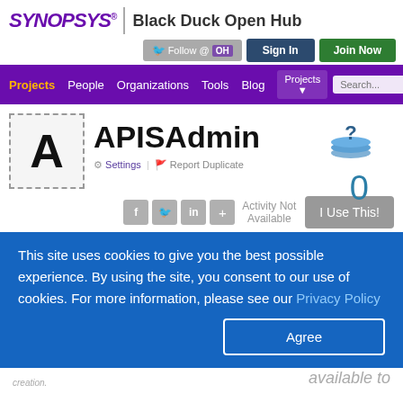SYNOPSYS® | Black Duck Open Hub
[Figure (screenshot): Navigation bar with Follow @OH, Sign In, and Join Now buttons]
[Figure (screenshot): Purple nav bar with Projects (active), People, Organizations, Tools, Blog links and a search box]
[Figure (screenshot): Project page for APISAdmin with logo placeholder, question mark icon, score 0, social sharing icons, Activity Not Available, and I Use This! button]
This site uses cookies to give you the best possible experience. By using the site, you consent to our use of cookies. For more information, please see our Privacy Policy
Agree
creation.
available to